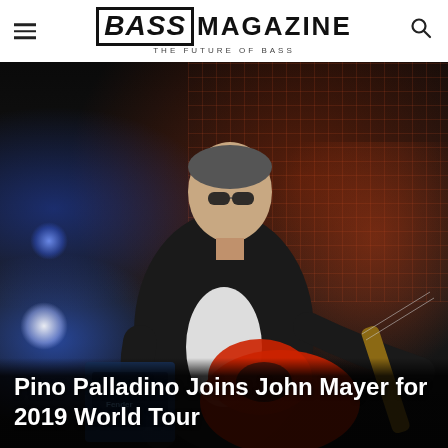BASS MAGAZINE — THE FUTURE OF BASS
[Figure (photo): Pino Palladino playing a red Fender Precision Bass on stage, wearing sunglasses and a black blazer over a white shirt, with stage lights and a large red-tinted projection screen in the background.]
Pino Palladino Joins John Mayer for 2019 World Tour